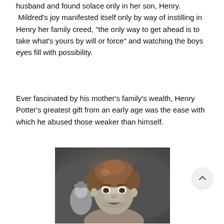husband and found solace only in her son, Henry. Mildred's joy manifested itself only by way of instilling in Henry her family creed, “the only way to get ahead is to take what’s yours by will or force” and watching the boys eyes fill with possibility.
Ever fascinated by his mother's family's wealth, Henry Potter’s greatest gift from an early age was the ease with which he abused those weaker than himself.
[Figure (photo): Black and white photograph of a curly-haired young person with an angry or confrontational expression, looking at the camera. Another figure is partially visible in the background.]